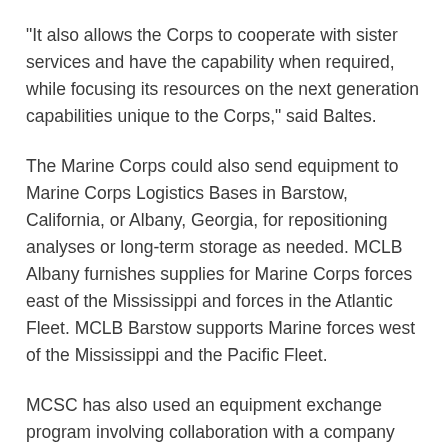"It also allows the Corps to cooperate with sister services and have the capability when required, while focusing its resources on the next generation capabilities unique to the Corps," said Baltes.
The Marine Corps could also send equipment to Marine Corps Logistics Bases in Barstow, California, or Albany, Georgia, for repositioning analyses or long-term storage as needed. MCLB Albany furnishes supplies for Marine Corps forces east of the Mississippi and forces in the Atlantic Fleet. MCLB Barstow supports Marine forces west of the Mississippi and the Pacific Fleet.
MCSC has also used an equipment exchange program involving collaboration with a company that auctions Marine Corps equipment in exchange for credit. The command can use the credits to purchase other items that fit their current needs.
"Divesting is like a tree you’re trying to work down," said Olson. "You’re looking for a divestment path that provides the